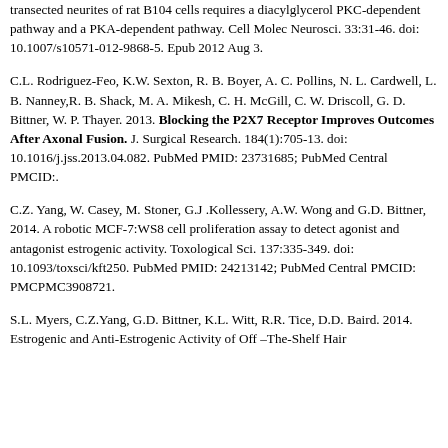transected neurites of rat B104 cells requires a diacylglycerol PKC-dependent pathway and a PKA-dependent pathway. Cell Molec Neurosci. 33:31-46. doi: 10.1007/s10571-012-9868-5. Epub 2012 Aug 3.
C.L. Rodriguez-Feo, K.W. Sexton, R. B. Boyer, A. C. Pollins, N. L. Cardwell, L. B. Nanney,R. B. Shack, M. A. Mikesh, C. H. McGill, C. W. Driscoll, G. D. Bittner, W. P. Thayer. 2013. Blocking the P2X7 Receptor Improves Outcomes After Axonal Fusion. J. Surgical Research. 184(1):705-13. doi: 10.1016/j.jss.2013.04.082. PubMed PMID: 23731685; PubMed Central PMCID:.
C.Z. Yang, W. Casey, M. Stoner, G.J .Kollessery, A.W. Wong and G.D. Bittner, 2014. A robotic MCF-7:WS8 cell proliferation assay to detect agonist and antagonist estrogenic activity. Toxological Sci. 137:335-349. doi: 10.1093/toxsci/kft250. PubMed PMID: 24213142; PubMed Central PMCID: PMCPMC3908721.
S.L. Myers, C.Z.Yang, G.D. Bittner, K.L. Witt, R.R. Tice, D.D. Baird. 2014. Estrogenic and Anti-Estrogenic Activity of Off –The-Shelf Hair